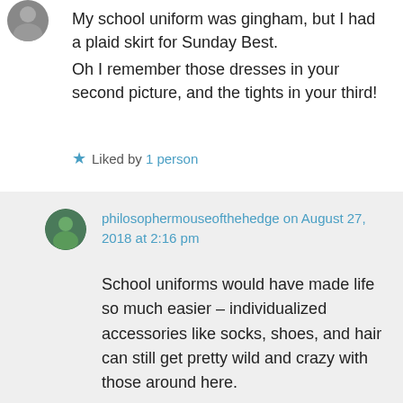[Figure (photo): Small circular avatar image of a person, partially visible at top left]
My school uniform was gingham, but I had a plaid skirt for Sunday Best.
Oh I remember those dresses in your second picture, and the tights in your third!
★ Liked by 1 person
[Figure (photo): Small circular avatar/profile image for philosophermouseofthehedge]
philosophermouseofthehedge on August 27, 2018 at 2:16 pm
School uniforms would have made life so much easier – individualized accessories like socks, shoes, and hair can still get pretty wild and crazy with those around here.
Somehow Mondrian yellow, red, and white